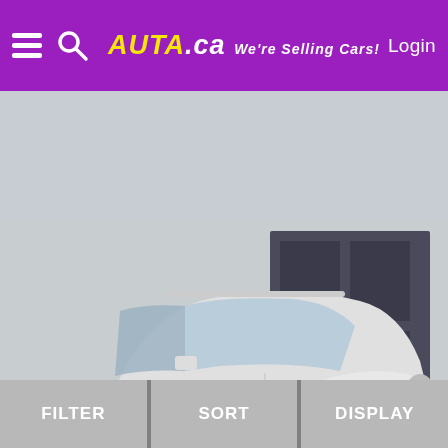Auta.ca We're Selling Cars! Login
[Figure (photo): White 2014 Subaru XV Crosstrek AWD parked in front of a dealership. Overlay text at bottom: DAHLE USED AUTOMART MURRAY - CALL OR TEXT 801-312-1620]
2014 Subaru XV Crosstrek AWD 2.0I Premium 4DR Crosso
57331 km   $21,690 USD